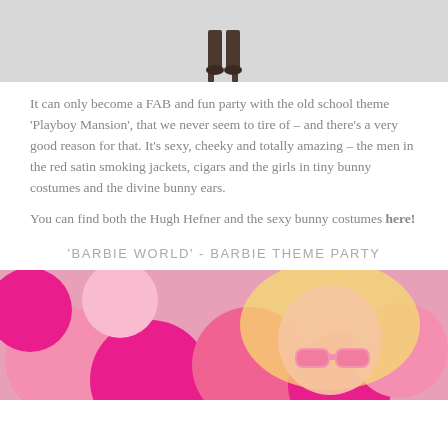[Figure (photo): Partial photo at top of page showing legs/heels of a person in costume against a light grey background]
It can only become a FAB and fun party with the old school theme 'Playboy Mansion', that we never seem to tire of – and there's a very good reason for that. It's sexy, cheeky and totally amazing – the men in the red satin smoking jackets, cigars and the girls in tiny bunny costumes and the divine bunny ears.
You can find both the Hugh Hefner and the sexy bunny costumes here!
'BARBIE WORLD' - BARBIE THEME PARTY
[Figure (photo): Photo of a blonde woman wearing pink sunglasses surrounded by pink and hot pink balloons, Barbie theme party aesthetic]